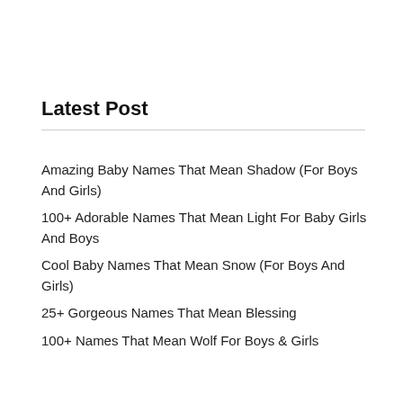Latest Post
Amazing Baby Names That Mean Shadow (For Boys And Girls)
100+ Adorable Names That Mean Light For Baby Girls And Boys
Cool Baby Names That Mean Snow (For Boys And Girls)
25+ Gorgeous Names That Mean Blessing
100+ Names That Mean Wolf For Boys & Girls